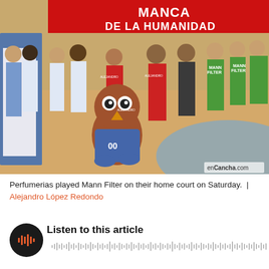[Figure (photo): Group photo of basketball players from Perfumerias (in blue and white) and Mann Filter (in green and yellow) teams on a basketball court, with a mascot (brown owl) in the foreground and spectators/officials in red Alejandro vests. A red banner reads 'La Manca DE LA HUMANIDAD' in the background. Watermark: enCancha.com]
Perfumerias played Mann Filter on their home court on Saturday. | Alejandro López Redondo
Listen to this article